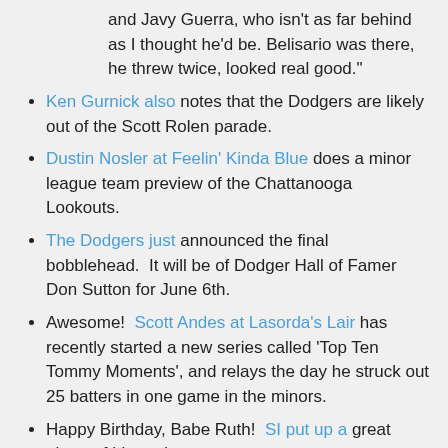and Javy Guerra, who isn't as far behind as I thought he'd be. Belisario was there, he threw twice, looked real good."
Ken Gurnick also notes that the Dodgers are likely out of the Scott Rolen parade.
Dustin Nosler at Feelin' Kinda Blue does a minor league team preview of the Chattanooga Lookouts.
The Dodgers just announced the final bobblehead.  It will be of Dodger Hall of Famer Don Sutton for June 6th.
Awesome!  Scott Andes at Lasorda's Lair has recently started a new series called 'Top Ten Tommy Moments', and relays the day he struck out 25 batters in one game in the minors.
Happy Birthday, Babe Ruth!  SI put up a great photo of him today.
After what I would call a successful NHLPA